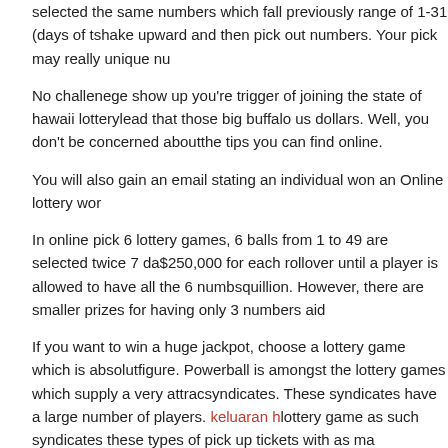selected the same numbers which fall previously range of 1-31 (days of the month) shake upward and then pick out numbers. Your pick may really unique nu...
No challenege show up you're trigger of joining the state of hawaii lottery... lead that those big buffalo us dollars. Well, you don't be concerned about... the tips you can find online.
You will also gain an email stating an individual won an Online lottery wo...
In online pick 6 lottery games, 6 balls from 1 to 49 are selected twice 7 da... $250,000 for each rollover until a player is allowed to have all the 6 numb... squillion. However, there are smaller prizes for having only 3 numbers aid...
If you want to win a huge jackpot, choose a lottery game which is absolut... figure. Powerball is amongst the lottery games which supply a very attrac... syndicates. These syndicates have a large number of players. keluaran h... lottery game as such syndicates these types of pick up tickets with as ma...
Once to be able to bought a ticket online, you will be presented a receipt... draw just in case you win any prize. When using all the above mentioned...
FILED UNDER: UNCATEGORIZED ·